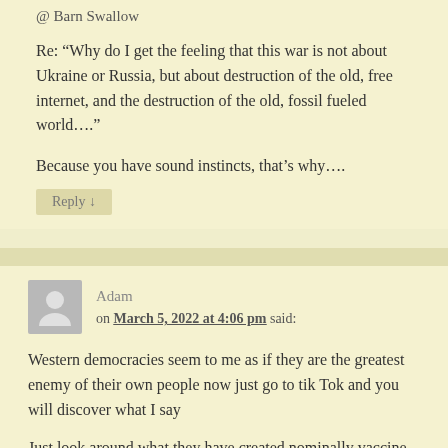@ Barn Swallow
Re: “Why do I get the feeling that this war is not about Ukraine or Russia, but about destruction of the old, free internet, and the destruction of the old, fossil fueled world….”
Because you have sound instincts, that’s why….
Reply ↓
Adam on March 5, 2022 at 4:06 pm said:
Western democracies seem to me as if they are the greatest enemy of their own people now just go to tik Tok and you will discover what I say
Just look around what they have created nominally vaccine that will save our lives